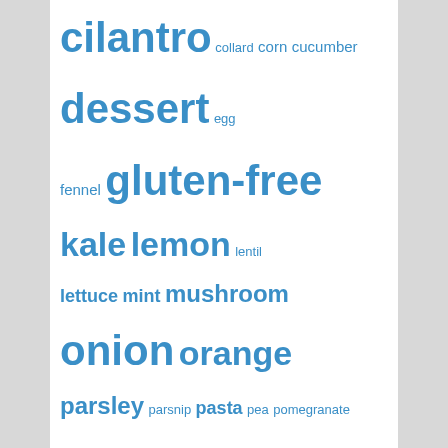[Figure (other): Tag cloud with food-related terms in varying sizes, all in blue. Terms include: cilantro, collard, corn, cucumber, dessert, egg, fennel, gluten-free, kale, lemon, lentil, lettuce, mint, mushroom, onion, orange, parsley, parsnip, pasta, pea, pomegranate, potato, quinoa, radish, rice, salad, soup, spinach, strawberry, tomato, vegan, white, bean, winter squash, zucchini]
RECENT COMMENTS FROM THE FRESHNESS FARMS COMMUNITY
jibbs on Creamy Carrot Soup
Jenn Castro on Five Years of Freshness
Jan Precious on Autumn Apples
RECENT BITES
[Figure (photo): Two small thumbnail images side by side, partially visible at the bottom of the page.]